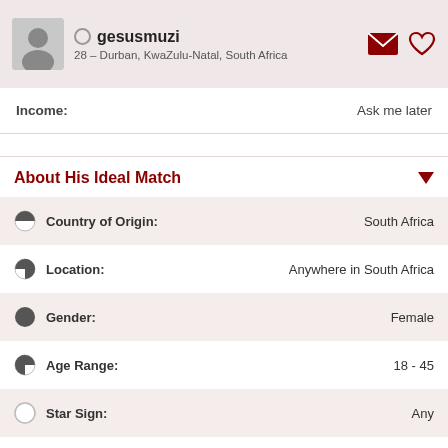gesusmuzi — 28 – Durban, KwaZulu-Natal, South Africa
Income: Ask me later
About His Ideal Match
| Field | Value |
| --- | --- |
| Country of Origin: | South Africa |
| Location: | Anywhere in South Africa |
| Gender: | Female |
| Age Range: | 18 - 45 |
| Star Sign: | Any |
| Height: | Any |